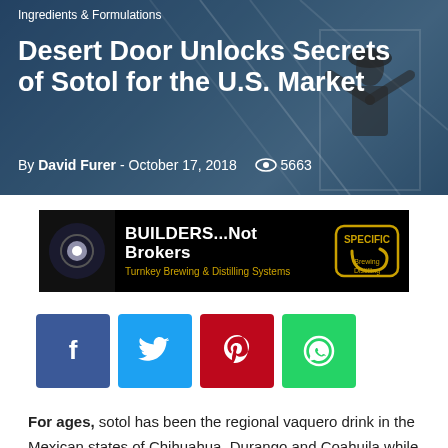Ingredients & Formulations
Desert Door Unlocks Secrets of Sotol for the U.S. Market
By David Furer - October 17, 2018  5663
[Figure (other): Advertisement banner: black background with motorcycle headlight image on left, text BUILDERS...Not Brokers in white, Turnkey Brewing & Distilling Systems in gold, and Specific Brewing Distilling logo on right]
[Figure (infographic): Four social media share buttons: Facebook (blue), Twitter (light blue), Pinterest (red), WhatsApp (green)]
For ages, sotol has been the regional vaquero drink in the Mexican states of Chihuahua, Durango and Coahuila while merely a popular style of moonshine in west Texas. Desert Door Distillery in Driftwood, TX, aims to change that by putting a U.S. twist on this ancient, under-appreciated spirit.